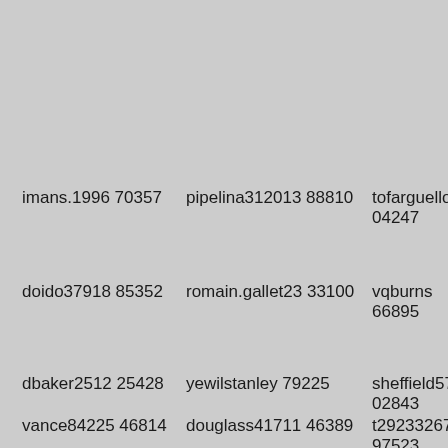imans.1996 70357
pipelina312013 88810
tofarguello 04247
doido37918 85352
romain.gallet23 33100
vqburns 66895
dbaker2512 25428
yewilstanley 79225
sheffield57080 02843
vance84225 46814
douglass41711 46389
t29233267 97523